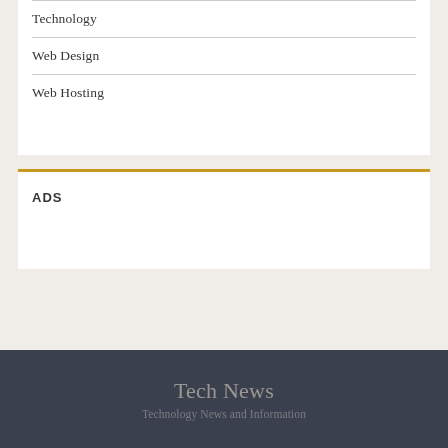Technology
Web Design
Web Hosting
ADS
Tech News
Technology News and Information